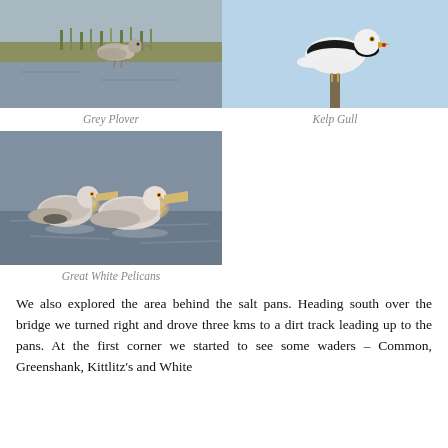[Figure (photo): Grey Plover bird standing in shallow water near grass]
[Figure (photo): Kelp Gull standing on a post against a blue sky]
Grey Plover
Kelp Gull
[Figure (photo): Great White Pelicans swimming on grey water]
Great White Pelicans
We also explored the area behind the salt pans. Heading south over the bridge we turned right and drove three kms to a dirt track leading up to the pans. At the first corner we started to see some waders – Common, Greenshank, Kittlitz's and White